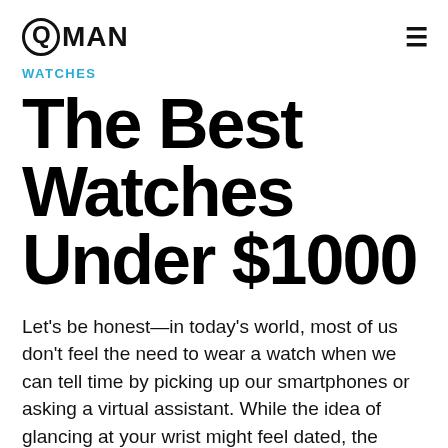QMAN
WATCHES
The Best Watches Under $1000
Let's be honest—in today's world, most of us don't feel the need to wear a watch when we can tell time by picking up our smartphones or asking a virtual assistant. While the idea of glancing at your wrist might feel dated, the addition of a classic watch to your wardrobe can give you an effortlessly chic look that is